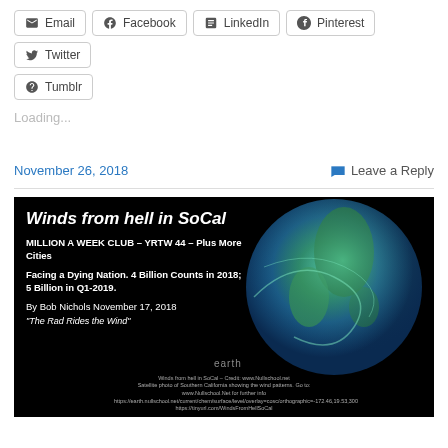Email | Facebook | LinkedIn | Pinterest | Twitter | Tumblr
Loading...
November 26, 2018
Leave a Reply
[Figure (screenshot): Article thumbnail image with black background showing globe/earth satellite image and text 'Winds from hell in SoCal - MILLION A WEEK CLUB – YRTW 44 – Plus More Cities. Facing a Dying Nation. 4 Billion Counts in 2018; 5 Billion in Q1-2019. By Bob Nichols November 17, 2018. The Rad Rides the Wind']